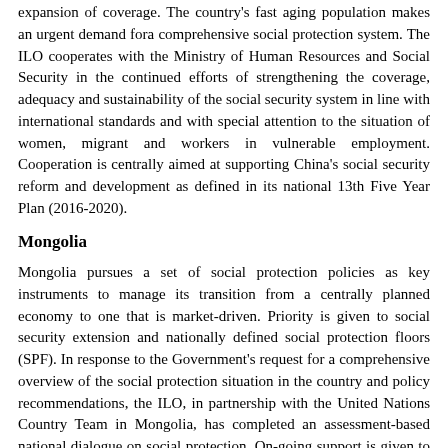expansion of coverage. The country's fast aging population makes an urgent demand fora comprehensive social protection system. The ILO cooperates with the Ministry of Human Resources and Social Security in the continued efforts of strengthening the coverage, adequacy and sustainability of the social security system in line with international standards and with special attention to the situation of women, migrant and workers in vulnerable employment. Cooperation is centrally aimed at supporting China's social security reform and development as defined in its national 13th Five Year Plan (2016-2020).
Mongolia
Mongolia pursues a set of social protection policies as key instruments to manage its transition from a centrally planned economy to one that is market-driven. Priority is given to social security extension and nationally defined social protection floors (SPF). In response to the Government's request for a comprehensive overview of the social protection situation in the country and policy recommendations, the ILO, in partnership with the United Nations Country Team in Mongolia, has completed an assessment-based national dialogue on social protection. On-going support is given to aligning Mongolia's social security system to international standards and realizing social guarantees related to health, children, working age population and the elderly.